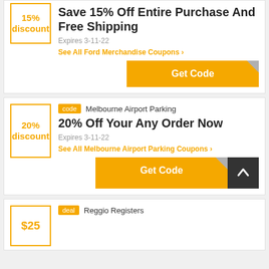[Figure (screenshot): Discount box showing '15% discount' in yellow border]
Save 15% Off Entire Purchase And Free Shipping
Expires 3-11-22
See All Ford Merchandise Coupons ›
Get Code
[Figure (screenshot): Discount box showing '20% discount' in yellow border]
code   Melbourne Airport Parking
20% Off Your Any Order Now
Expires 3-11-22
See All Melbourne Airport Parking Coupons ›
Get Code
[Figure (screenshot): Discount box showing '$25' in yellow border]
deal   Reggio Registers